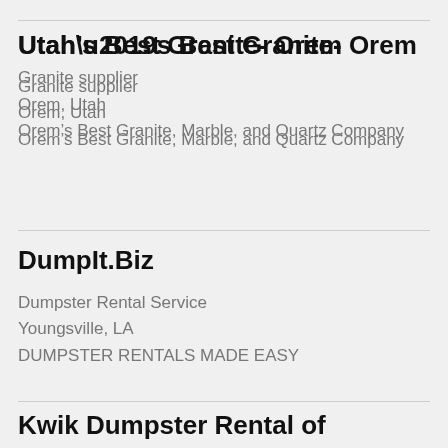Utah’s Best Granite- Orem
Granite supplier
Orem, Utah
Orem’s Best Granite, Marble, and Quartz Company
DumpIt.Biz
Dumpster Rental Service
Youngsville, LA
DUMPSTER RENTALS MADE EASY
Kwik Dumpster Rental of